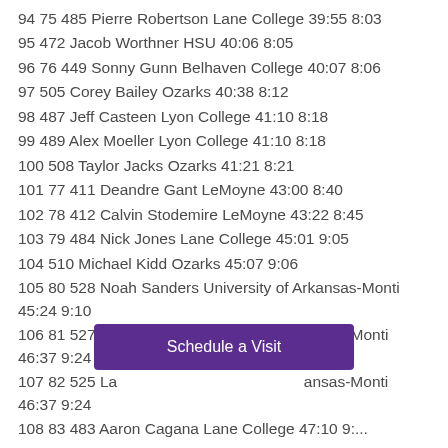94 75 485 Pierre Robertson Lane College 39:55 8:03
95 472 Jacob Worthner HSU 40:06 8:05
96 76 449 Sonny Gunn Belhaven College 40:07 8:06
97 505 Corey Bailey Ozarks 40:38 8:12
98 487 Jeff Casteen Lyon College 41:10 8:18
99 489 Alex Moeller Lyon College 41:10 8:18
100 508 Taylor Jacks Ozarks 41:21 8:21
101 77 411 Deandre Gant LeMoyne 43:00 8:40
102 78 412 Calvin Stodemire LeMoyne 43:22 8:45
103 79 484 Nick Jones Lane College 45:01 9:05
104 510 Michael Kidd Ozarks 45:07 9:06
105 80 528 Noah Sanders University of Arkansas-Monti 45:24 9:10
106 81 527 Drew Harper University of Arkansas-Monti 46:37 9:24
107 82 525 La... University of Arkansas-Monti 46:37 9:24
108 83 493 ... College 47:...